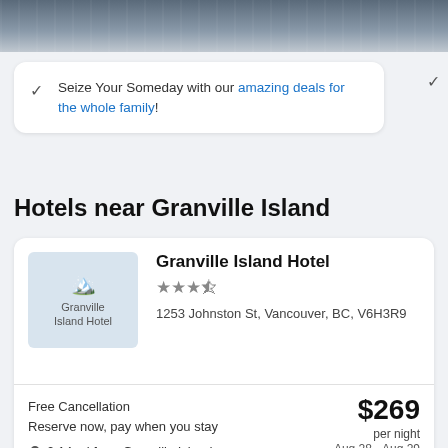[Figure (photo): Top banner photo showing a hotel room or hallway in muted gray/blue tones]
Seize Your Someday with our amazing deals for the whole family!
Hotels near Granville Island
[Figure (photo): Granville Island Hotel thumbnail image placeholder]
Granville Island Hotel
★★★½
1253 Johnston St, Vancouver, BC, V6H3R9
Free Cancellation
Reserve now, pay when you stay
0.14 mi from Granville Island
$269 per night
Aug 28 - Aug 29